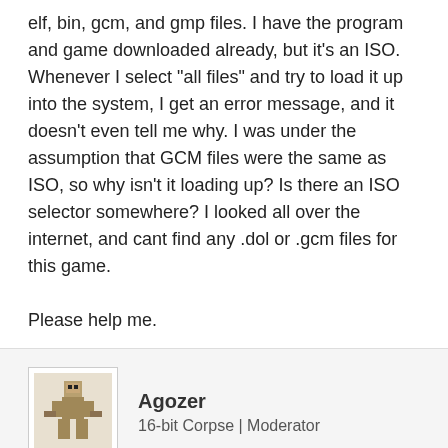elf, bin, gcm, and gmp files. I have the program and game downloaded already, but it's an ISO. Whenever I select "all files" and try to load it up into the system, I get an error message, and it doesn't even tell me why. I was under the assumption that GCM files were the same as ISO, so why isn't it loading up? Is there an ISO selector somewhere? I looked all over the internet, and cant find any .dol or .gcm files for this game.

Please help me.
Agozer
16-bit Corpse | Moderator
Oct 12, 2015
#2
What happens if you just rename the file extension to .gcm?
IJustWannaPlay